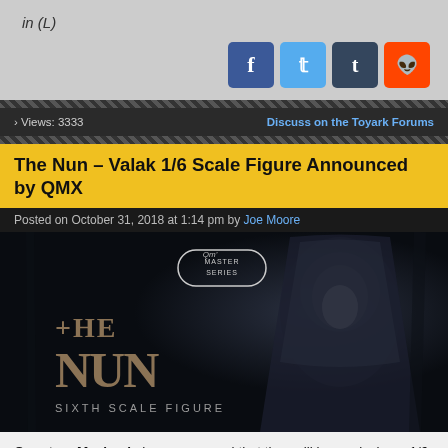in (L)
[Figure (other): Social media share icons: Facebook (blue), Twitter (light blue), Tumblr (dark blue), Reddit (orange)]
› Views: 3333
Discuss on the Toyark Forums
The Nun – Valak 1/6 Scale Figure Announced by QMX
Posted on October 31, 2018 at 1:14 pm by Joe Moore
[Figure (photo): Promotional image for The Nun Sixth Scale Figure by QMX Master Series, showing the demon Valak (a pale-faced nun figure) on a dark background with gold gothic text reading 'THE NUN SIXTH SCALE FIGURE' and the QMX Master Series logo.]
Quantum Mechanix has announced that they will be producing a 1/6 scale figure based on the demon Valak from The Nun. The Nun is the fifth film in